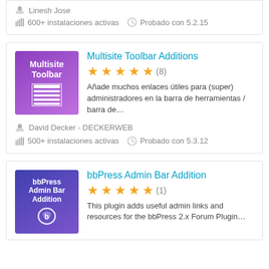Linesh Jose
600+ instalaciones activas   Probado con 5.2.15
[Figure (logo): Multisite Toolbar plugin icon - purple gradient background with white text 'Multisite Toolbar' and toolbar icon]
Multisite Toolbar Additions
★★★★★ (8)
Añade muchos enlaces útiles para (super) administradores en la barra de herramientas / barra de...
David Decker - DECKERWEB
500+ instalaciones activas   Probado con 5.3.12
[Figure (logo): bbPress Admin Bar Addition plugin icon - dark blue/purple gradient with white text]
bbPress Admin Bar Addition
★★★★★ (1)
This plugin adds useful admin links and resources for the bbPress 2.x Forum Plugin...